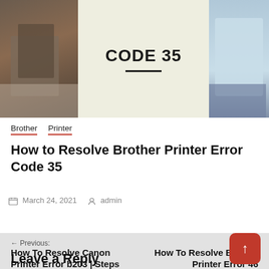[Figure (photo): Header image for article about Brother Printer Error Code 35, showing text 'CODE 35' in center with a horizontal line below, flanked by a desk/books scene on the left and a person in light blue shirt on the right]
Brother   Printer
How to Resolve Brother Printer Error Code 35
March 24, 2021   admin
← Previous: How To Resolve Canon Printer Error b203 | Steps
Next: → How To Resolve Brother Printer Error 46
Leave a Reply